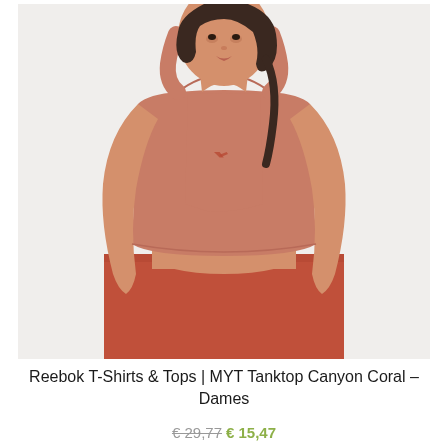[Figure (photo): Woman wearing a Reebok MYT Tanktop in Canyon Coral (dusty pink/salmon crop top) paired with coral-red high-waist leggings, posed against a white background. The Reebok logo is visible on the chest of the tank top.]
Reebok T-Shirts & Tops | MYT Tanktop Canyon Coral – Dames
€ 29,77 € 15,47